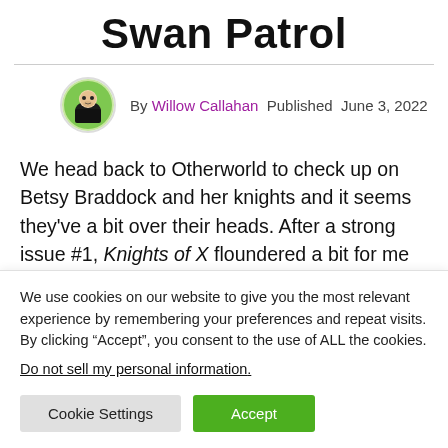Swan Patrol
By Willow Callahan Published June 3, 2022
We head back to Otherworld to check up on Betsy Braddock and her knights and it seems they've a bit over their heads. After a strong issue #1, Knights of X floundered a bit for me regarding the follow up
We use cookies on our website to give you the most relevant experience by remembering your preferences and repeat visits. By clicking “Accept”, you consent to the use of ALL the cookies.
Do not sell my personal information.